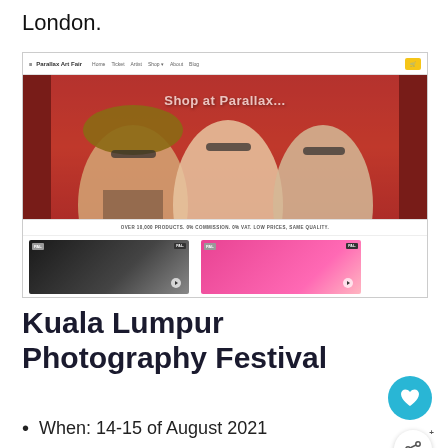London.
[Figure (screenshot): Screenshot of Parallax Art Fair website showing a hero image with three women in sunglasses, text 'Shop at Parallax', tagline 'OVER 10,000 PRODUCTS. 0% COMMISSION. 0% VAT. LOW PRICES, SAME QUALITY.', and two video thumbnails below.]
Kuala Lumpur Photography Festival
When: 14-15 of August 2021